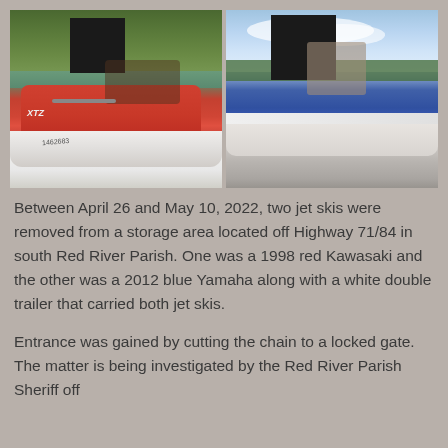[Figure (photo): Two side-by-side photos of jet skis on water. Left photo shows a red Kawasaki jet ski with a rider whose face is redacted (black box). Right photo shows a blue Yamaha jet ski with a rider whose face is redacted (black box).]
Between April 26 and May 10, 2022, two jet skis were removed from a storage area located off Highway 71/84 in south Red River Parish. One was a 1998 red Kawasaki and the other was a 2012 blue Yamaha along with a white double trailer that carried both jet skis.
Entrance was gained by cutting the chain to a locked gate. The matter is being investigated by the Red River Parish Sheriff off...